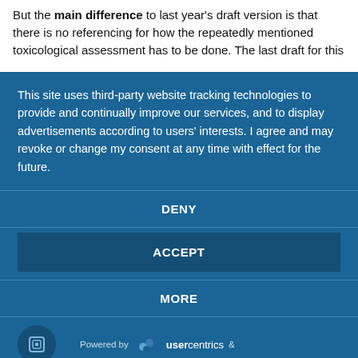But the main difference to last year's draft version is that there is no referencing for how the repeatedly mentioned toxicological assessment has to be done. The last draft for this
This site uses third-party website tracking technologies to provide and continually improve our services, and to display advertisements according to users' interests. I agree and may revoke or change my consent at any time with effect for the future.
DENY
ACCEPT
MORE
Powered by usercentrics &